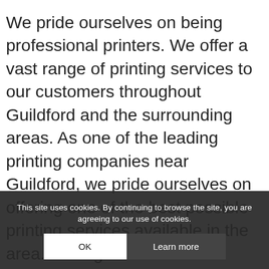We pride ourselves on being professional printers. We offer a vast range of printing services to our customers throughout Guildford and the surrounding areas. As one of the leading printing companies near Guildford, we pride ourselves on offering one of the best possible printing services available in the area. Having worked in the industry for many years, we have honed and developed all the necessary skills needed to ensure professional printed products are provided.  All of our printing is carried out using quality materials and inks to ensure some of the highest standards of printing available in the area. No matter what your printing needs might be, you can
This site uses cookies. By continuing to browse the site, you are agreeing to our use of cookies.
OK
Learn more